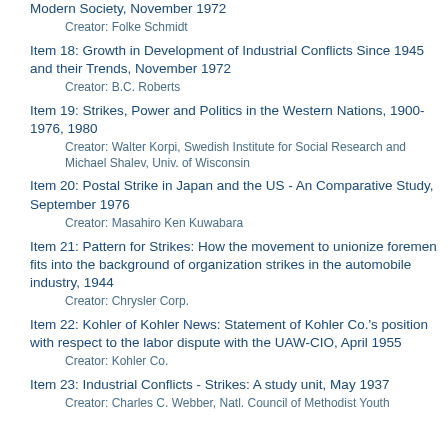Modern Society, November 1972
Creator: Folke Schmidt
Item 18: Growth in Development of Industrial Conflicts Since 1945 and their Trends, November 1972
Creator: B.C. Roberts
Item 19: Strikes, Power and Politics in the Western Nations, 1900-1976, 1980
Creator: Walter Korpi, Swedish Institute for Social Research and Michael Shalev, Univ. of Wisconsin
Item 20: Postal Strike in Japan and the US - An Comparative Study, September 1976
Creator: Masahiro Ken Kuwabara
Item 21: Pattern for Strikes: How the movement to unionize foremen fits into the background of organization strikes in the automobile industry, 1944
Creator: Chrysler Corp.
Item 22: Kohler of Kohler News: Statement of Kohler Co.'s position with respect to the labor dispute with the UAW-CIO, April 1955
Creator: Kohler Co.
Item 23: Industrial Conflicts - Strikes: A study unit, May 1937
Creator: Charles C. Webber, Natl. Council of Methodist Youth